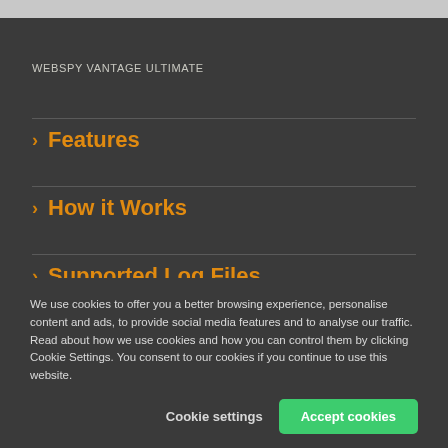WEBSPY VANTAGE ULTIMATE
> Features
> How it Works
> Supported Log Files
> Pricing
We use cookies to offer you a better browsing experience, personalise content and ads, to provide social media features and to analyse our traffic. Read about how we use cookies and how you can control them by clicking Cookie Settings. You consent to our cookies if you continue to use this website.
Cookie settings   Accept cookies